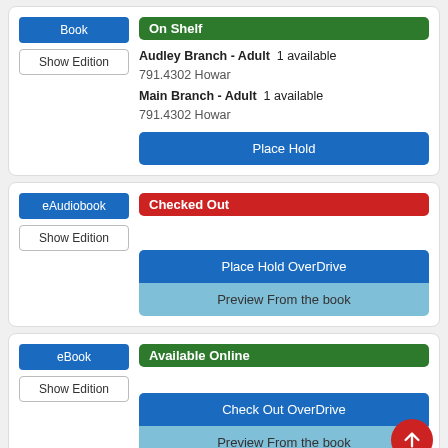Book | On Shelf | Audley Branch - Adult 1 available 791.4302 Howar | Main Branch - Adult 1 available 791.4302 Howar | Place Hold
eAudiobook | Checked Out | Place Hold OverDrive | Preview From the book
eBook | Available Online | Check Out OverDrive | Preview From the book